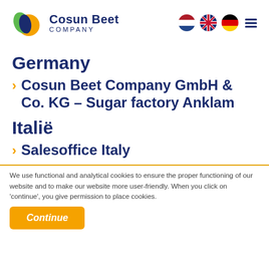Cosun Beet Company
Germany
Cosun Beet Company GmbH & Co. KG – Sugar factory Anklam
Italië
Salesoffice Italy
We use functional and analytical cookies to ensure the proper functioning of our website and to make our website more user-friendly. When you click on 'continue', you give permission to place cookies.